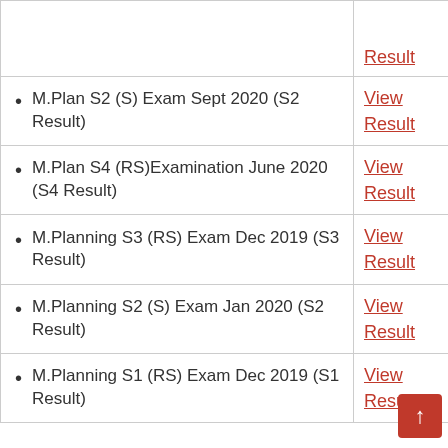| Examination | Link |
| --- | --- |
| (partial row top - Result link only) | Result |
| M.Plan S2 (S) Exam Sept 2020 (S2 Result) | View Result |
| M.Plan S4 (RS)Examination June 2020 (S4 Result) | View Result |
| M.Planning S3 (RS) Exam Dec 2019 (S3 Result) | View Result |
| M.Planning S2 (S) Exam Jan 2020 (S2 Result) | View Result |
| M.Planning S1 (RS) Exam Dec 2019 (S1 Result) | View Result |